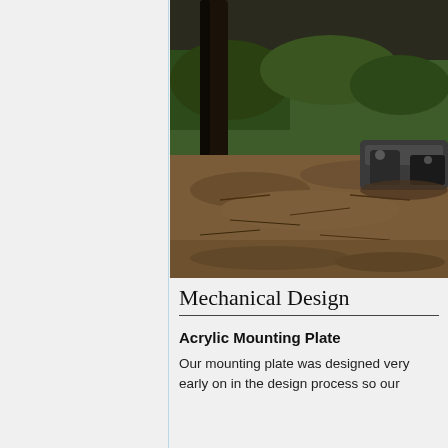[Figure (photo): Close-up outdoor photo showing a mechanical foot or appendage near dirt ground with grass/foliage in the background. The image appears to show a robotic or mechanical leg on earthy terrain.]
Mechanical Design
Acrylic Mounting Plate
Our mounting plate was designed very early on in the design process so our